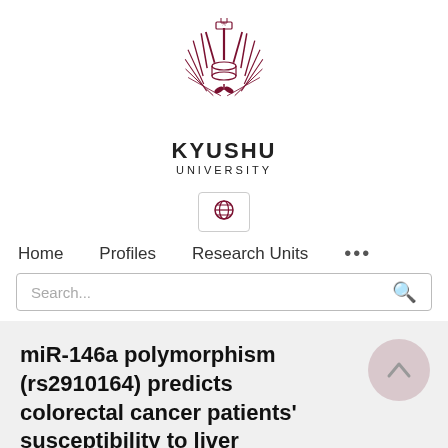[Figure (logo): Kyushu University logo — a circular emblem with radiating feather/fan lines in dark red/maroon, with a small crown-like structure at top and a small book/plant at base]
KYUSHU
UNIVERSITY
[Figure (other): Globe icon button in a rounded rectangle border]
Home    Profiles    Research Units    ...
Search...
miR-146a polymorphism (rs2910164) predicts colorectal cancer patients' susceptibility to liver metastasis